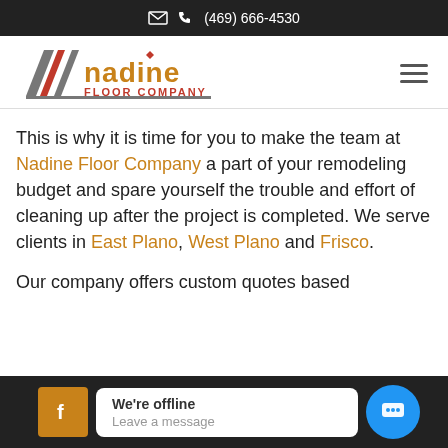✉ 📞 (469) 666-4530
[Figure (logo): Nadine Floor Company logo with diagonal stripes in gray and red, orange text 'nadine' and red text 'FLOOR COMPANY']
This is why it is time for you to make the team at Nadine Floor Company a part of your remodeling budget and spare yourself the trouble and effort of cleaning up after the project is completed. We serve clients in East Plano, West Plano and Frisco.
Our company offers custom quotes based
[Figure (screenshot): Chat widget footer with Facebook icon, 'We're offline / Leave a message' popup, and blue chat bubble button]